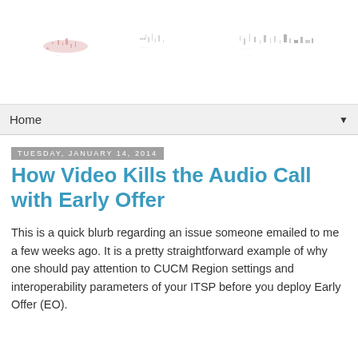[Figure (illustration): Blog header banner with decorative text/logo imagery rendered as scattered text marks]
Home ▼
Tuesday, January 14, 2014
How Video Kills the Audio Call with Early Offer
This is a quick blurb regarding an issue someone emailed to me a few weeks ago. It is a pretty straightforward example of why one should pay attention to CUCM Region settings and interoperability parameters of your ITSP before you deploy Early Offer (EO).